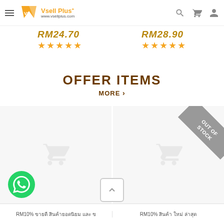[Figure (screenshot): Mobile e-commerce website header for Vsell Plus with logo, hamburger menu, search, cart, and user icons]
RM24.70
[Figure (other): 5 gold stars rating for RM24.70 product]
RM28.90
[Figure (other): 5 gold stars rating for RM28.90 product]
OFFER ITEMS
MORE >
[Figure (screenshot): Two product cards side by side with shopping cart placeholder icons. Right card has 'OUT OF STOCK' corner ribbon badge.]
RM10% ขายดี สินค้ายอดนิยม และ ข
RM10% สินค้า ใหม่ ล่าสุด